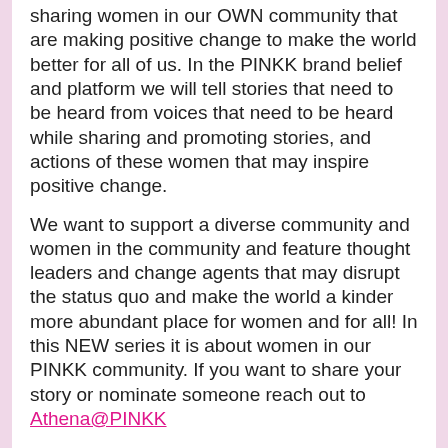sharing women in our OWN community that are making positive change to make the world better for all of us. In the PINKK brand belief and platform we will tell stories that need to be heard from voices that need to be heard while sharing and promoting stories, and actions of these women that may inspire positive change.
We want to support a diverse community and women in the community and feature thought leaders and change agents that may disrupt the status quo and make the world a kinder more abundant place for women and for all! In this NEW series it is about women in our PINKK community. If you want to share your story or nominate someone reach out to Athena@PINKK
This is #2 in this series for March Women's History Month: